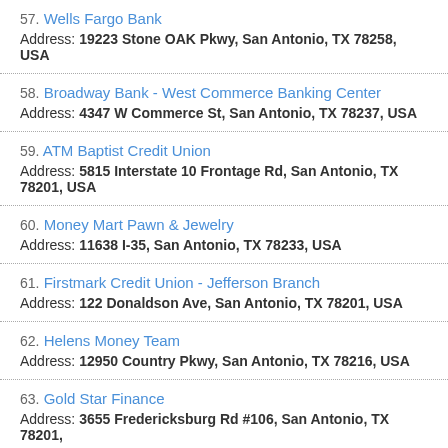57. Wells Fargo Bank
Address: 19223 Stone OAK Pkwy, San Antonio, TX 78258, USA
58. Broadway Bank - West Commerce Banking Center
Address: 4347 W Commerce St, San Antonio, TX 78237, USA
59. ATM Baptist Credit Union
Address: 5815 Interstate 10 Frontage Rd, San Antonio, TX 78201, USA
60. Money Mart Pawn & Jewelry
Address: 11638 I-35, San Antonio, TX 78233, USA
61. Firstmark Credit Union - Jefferson Branch
Address: 122 Donaldson Ave, San Antonio, TX 78201, USA
62. Helens Money Team
Address: 12950 Country Pkwy, San Antonio, TX 78216, USA
63. Gold Star Finance
Address: 3655 Fredericksburg Rd #106, San Antonio, TX 78201,